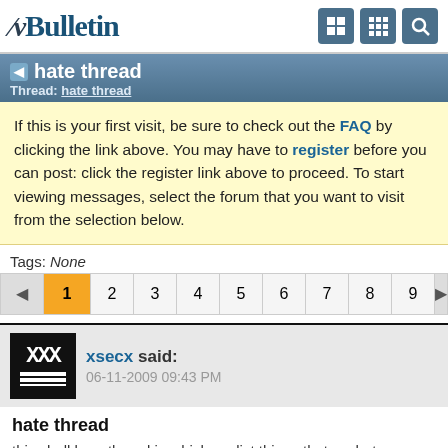vBulletin
hate thread — Thread: hate thread
If this is your first visit, be sure to check out the FAQ by clicking the link above. You may have to register before you can post: click the register link above to proceed. To start viewing messages, select the forum that you want to visit from the selection below.
Tags: None
◄ 1 2 3 4 5 6 7 8 9 ►
xsecx said: 06-11-2009 09:43 PM
hate thread
this shall be a thread in which we list things that we hate